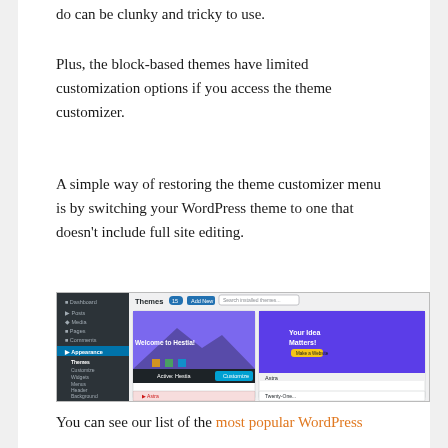do can be clunky and tricky to use.
Plus, the block-based themes have limited customization options if you access the theme customizer.
A simple way of restoring the theme customizer menu is by switching your WordPress theme to one that doesn't include full site editing.
[Figure (screenshot): WordPress admin panel showing Themes page with Hestia active theme and Astra theme visible, with sidebar showing Appearance menu expanded]
You can see our list of the most popular WordPress